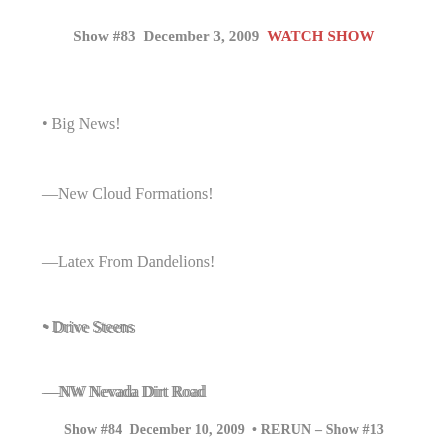Show #83  December 3, 2009  WATCH SHOW
• Big News!
— New Cloud Formations!
— Latex From Dandelions!
• Drive Steens
— NW Nevada Dirt Road
• Diamond vs Porsche
Show #84  December 10, 2009  • RERUN – Show #13